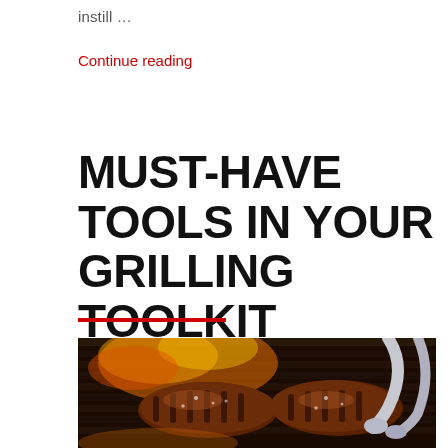instill …
Continue reading
MUST-HAVE TOOLS IN YOUR GRILLING TOOLKIT
[Figure (photo): Close-up photo of meat (steaks) being grilled on a barbecue grill with tongs, showing flames and grill grates in the background.]